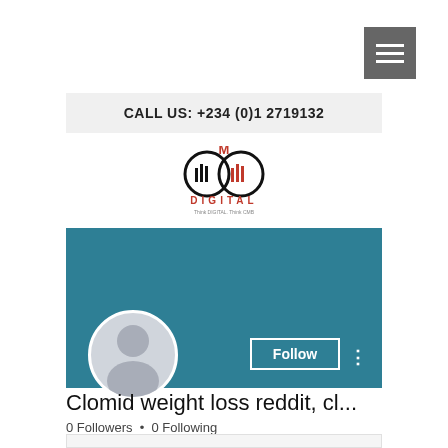[Figure (other): Hamburger/menu icon button (three horizontal lines on grey background)]
CALL US: +234 (0)1 2719132
[Figure (logo): CMB Digital logo with circular icon and text 'DIGITAL' below]
[Figure (screenshot): Social media profile page area with teal/blue banner, user avatar (generic silhouette), Follow button, and three-dots menu]
Clomid weight loss reddit, cl...
0 Followers • 0 Following